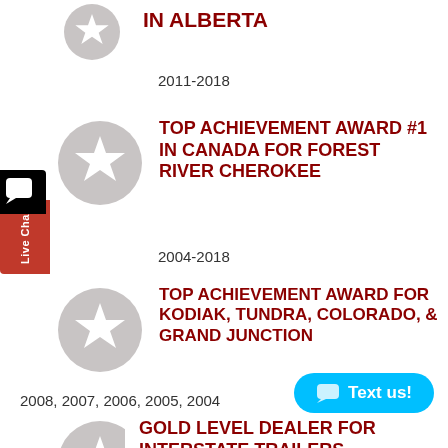[Figure (illustration): Gray circular badge with white star icon - award badge top left (partially visible)]
IN ALBERTA
2011-2018
[Figure (illustration): Gray circular badge with white star icon - award badge middle left]
TOP ACHIEVEMENT AWARD #1 IN CANADA FOR FOREST RIVER CHEROKEE
2004-2018
[Figure (illustration): Gray circular badge with white star icon - award badge lower middle left]
TOP ACHIEVEMENT AWARD FOR KODIAK, TUNDRA, COLORADO, & GRAND JUNCTION
2008, 2007, 2006, 2005, 2004
[Figure (illustration): Gray circular badge with white star icon - award badge bottom (partially visible)]
GOLD LEVEL DEALER FOR INTERSTATE TRAILERS